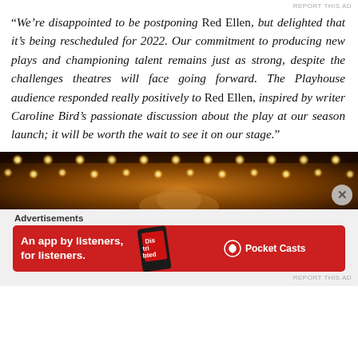REPORT THIS AD
“We’re disappointed to be postponing Red Ellen, but delighted that it’s being rescheduled for 2022. Our commitment to producing new plays and championing talent remains just as strong, despite the challenges theatres will face going forward. The Playhouse audience responded really positively to Red Ellen, inspired by writer Caroline Bird’s passionate discussion about the play at our season launch; it will be worth the wait to see it on our stage.”
[Figure (photo): Stage lights from a theatre, warm golden glow with a row of illuminated bulbs visible along the top, and a partial view of a performer below]
Advertisements
[Figure (infographic): Red advertisement banner for Pocket Casts: 'An app by listeners, for listeners.' with an image of a phone showing the Distributed podcast app and the Pocket Casts logo]
REPORT THIS AD